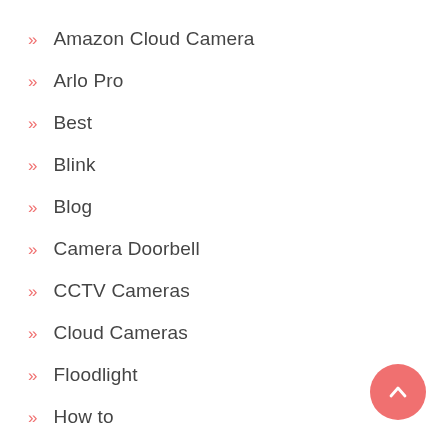Amazon Cloud Camera
Arlo Pro
Best
Blink
Blog
Camera Doorbell
CCTV Cameras
Cloud Cameras
Floodlight
How to
IP Cameras
Lorex